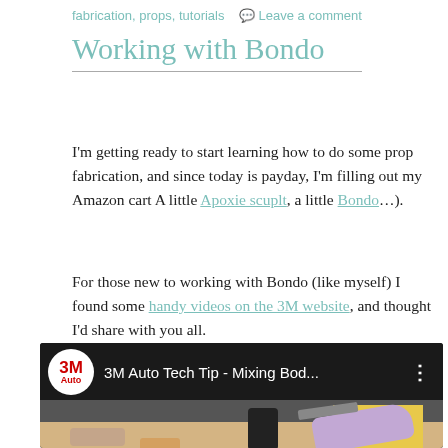fabrication, props, tutorials   Leave a comment
Working with Bondo
I'm getting ready to start learning how to do some prop fabrication, and since today is payday, I'm filling out my Amazon cart A little Apoxie scuplt, a little Bondo...).
For those new to working with Bondo (like myself) I found some handy videos on the 3M website, and thought I'd share with you all.
[Figure (screenshot): YouTube video thumbnail showing '3M Auto Tech Tip - Mixing Bod...' with 3M Auto logo circle, dark background header, and video thumbnail showing hands mixing Bondo body filler on a surface with a yellow board and spatula]